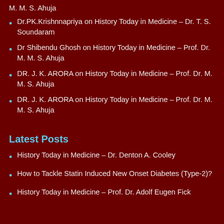M. M. S. Ahuja
Dr.PK.Krishnnapriya on History Today in Medicine – Dr. T. S. Soundaram
Dr Shibendu Ghosh on History Today in Medicine – Prof. Dr. M. M. S. Ahuja
DR. J. K. ARORA on History Today in Medicine – Prof. Dr. M. M. S. Ahuja
DR. J. K. ARORA on History Today in Medicine – Prof. Dr. M. M. S. Ahuja
Latest Posts
History Today in Medicine – Dr. Denton A. Cooley
How to Tackle Statin Induced New Onset Diabetes (Type-2)?
History Today in Medicine – Prof. Dr. Adolf Eugen Fick